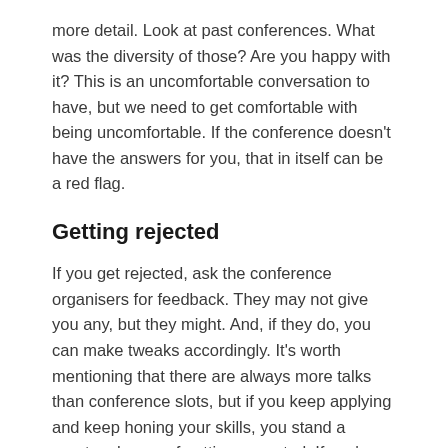more detail. Look at past conferences. What was the diversity of those? Are you happy with it? This is an uncomfortable conversation to have, but we need to get comfortable with being uncomfortable. If the conference doesn't have the answers for you, that in itself can be a red flag.
Getting rejected
If you get rejected, ask the conference organisers for feedback. They may not give you any, but they might. And, if they do, you can make tweaks accordingly. It's worth mentioning that there are always more talks than conference slots, but if you keep applying and keep honing your skills, you stand a greater chance of getting accepted. If you've written your talk, and you evidence it in the CFP, and you're still not being accepted to speak at any conference, you need to get feedback. It should help you to understand your next steps and what you need to change (if anything); competition is stiff but keep going and